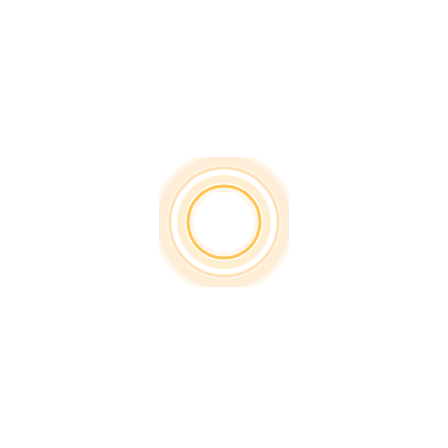[Figure (other): A loading or target indicator graphic consisting of concentric circles with an orange/amber color scheme on a white background. An outer large pale ring with a soft glow, a middle ring, and an inner filled circle ring, creating a donut/bullseye effect with golden-orange hues.]